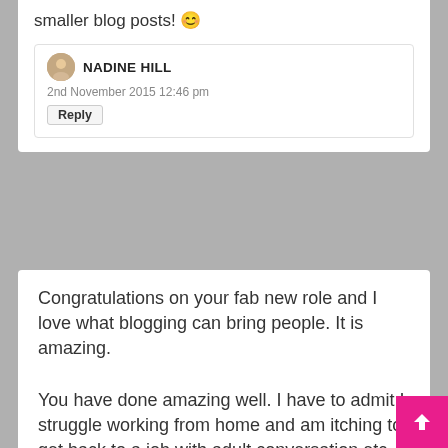smaller blog posts! 😊
NADINE HILL
2nd November 2015 12:46 pm
Reply
Congratulations on your fab new role and I love what blogging can bring people. It is amazing.
JEN WALSHAW (@MUM_THEMADHOUSE)
2nd November 2015 9:15 pm
Reply
You have done amazing well. I have to admit I struggle working from home and am itching to get back to a job with adult conversation etc. Congratulations on the new role xx